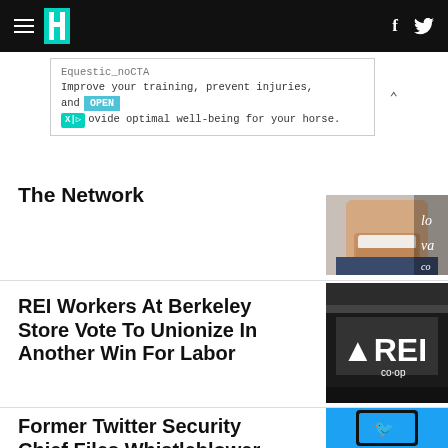HuffPost navigation with hamburger menu, logo, Facebook and Twitter icons
Equestic_noCTA
Improve your training, prevent injuries, and provide optimal well-being for your horse. OPEN
The Network
REI Workers At Berkeley Store Vote To Unionize In Another Win For Labor
[Figure (photo): Person smiling, partial face visible]
[Figure (photo): REI co-op sign on building exterior]
Former Twitter Security Chief Files Whistleblower
[Figure (photo): Smartphone showing Twitter app with blue bird logo]